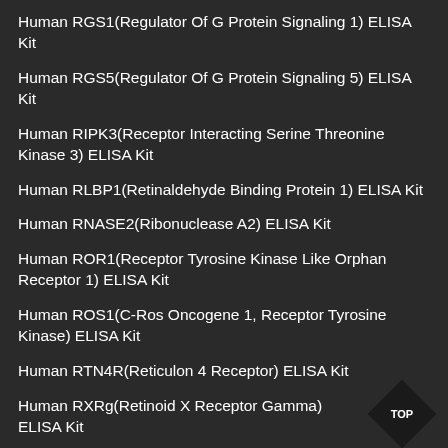Human RGS1(Regulator Of G Protein Signaling 1) ELISA Kit
Human RGS5(Regulator Of G Protein Signaling 5) ELISA Kit
Human RIPK3(Receptor Interacting Serine Threonine Kinase 3) ELISA Kit
Human RLBP1(Retinaldehyde Binding Protein 1) ELISA Kit
Human RNASE2(Ribonuclease A2) ELISA Kit
Human ROR1(Receptor Tyrosine Kinase Like Orphan Receptor 1) ELISA Kit
Human ROS1(C-Ros Oncogene 1, Receptor Tyrosine Kinase) ELISA Kit
Human RTN4R(Reticulon 4 Receptor) ELISA Kit
Human RXRg(Retinoid X Receptor Gamma) ELISA Kit